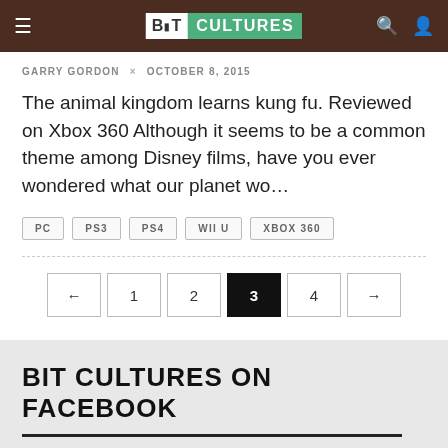Bit Cultures — navigation header with logo, hamburger menu, search and user icons
GARRY GORDON × OCTOBER 8, 2015
The animal kingdom learns kung fu. Reviewed on Xbox 360 Although it seems to be a common theme among Disney films, have you ever wondered what our planet wo…
PC
PS3
PS4
WII U
XBOX 360
← 1 2 3 4 →
BIT CULTURES ON FACEBOOK